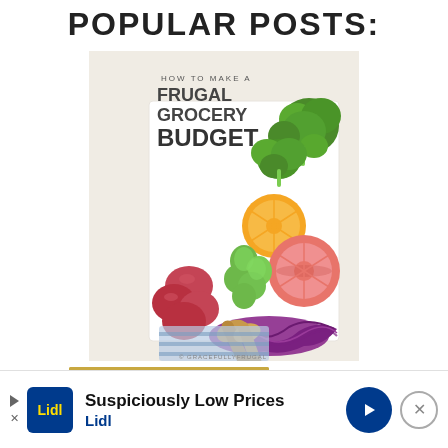POPULAR POSTS:
[Figure (photo): Promotional image for 'How to Make a Frugal Grocery Budget' blog post. Shows various fresh vegetables and fruits including broccoli, Brussels sprouts, red potatoes, orange slices, grapefruit, and shredded purple cabbage arranged on a white surface with wooden spoons. Text overlay reads 'HOW TO MAKE A FRUGAL GROCERY BUDGET'.]
[Figure (photo): Partial image of another popular post showing what appears to be food on a yellow/golden background, partially visible at the bottom of the page.]
Suspiciously Low Prices
Lidl